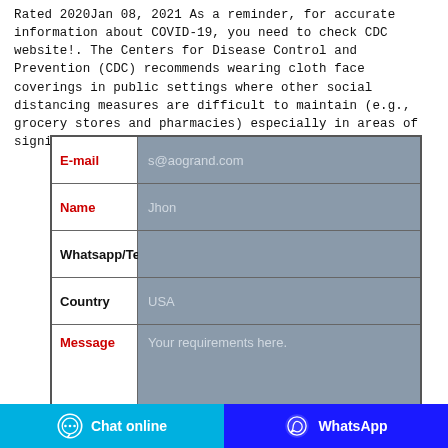Rated 2020Jan 08, 2021 As a reminder, for accurate information about COVID-19, you need to check CDC website!. The Centers for Disease Control and Prevention (CDC) recommends wearing cloth face coverings in public settings where other social distancing measures are difficult to maintain (e.g., grocery stores and pharmacies) especially in areas of significant community-based transmission.
| Field | Value |
| --- | --- |
| E-mail | s@aogrand.com |
| Name | Jhon |
| Whatsapp/Te |  |
| Country | USA |
| Message | Your requirements here. |
[Figure (screenshot): Bottom navigation bar with two buttons: 'Chat online' (cyan/blue background with chat icon) and 'WhatsApp' (blue background with WhatsApp icon)]